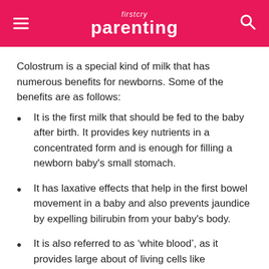firstcry parenting
Colostrum is a special kind of milk that has numerous benefits for newborns. Some of the benefits are as follows:
It is the first milk that should be fed to the baby after birth. It provides key nutrients in a concentrated form and is enough for filling a newborn baby's small stomach.
It has laxative effects that help in the first bowel movement in a baby and also prevents jaundice by expelling bilirubin from your baby's body.
It is also referred to as ‘white blood’, as it provides large about of living cells like lymphocytes and macrophages which makes the baby’s immunity system strong.
An infant’s intestines are very leaky. Colostrum seals the